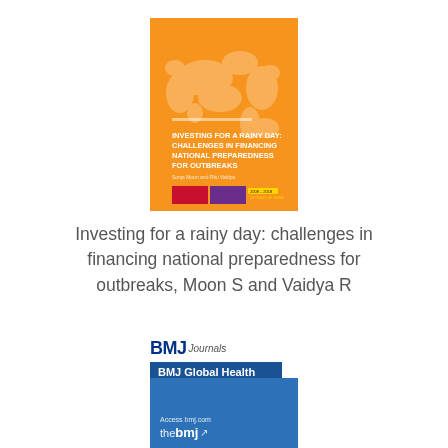[Figure (illustration): Cover of a report titled 'Investing for a Rainy Day: Challenges in Financing National Preparedness for Outbreaks' with an orange background showing a world map silhouette, red and purple blocks at the bottom, and small text details.]
Investing for a rainy day: challenges in financing national preparedness for outbreaks, Moon S and Vaidya R
[Figure (logo): BMJ Journals logo with 'BMJ Global Health' label in a dark blue bar, followed by a solid blue rectangle with 'Access bmj.com the bmj' text at the bottom.]